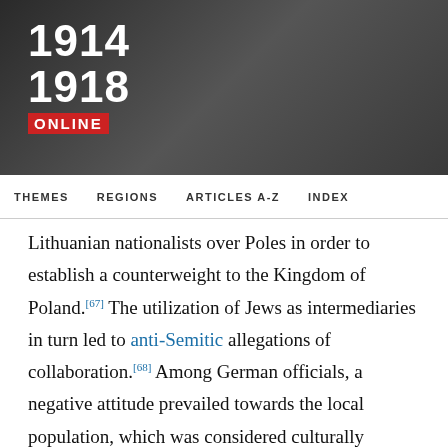[Figure (other): 1914-1918 Online website header banner with dark background and logo]
THEMES   REGIONS   ARTICLES A-Z   INDEX
Lithuanian nationalists over Poles in order to establish a counterweight to the Kingdom of Poland.[67] The utilization of Jews as intermediaries in turn led to anti-Semitic allegations of collaboration.[68] Among German officials, a negative attitude prevailed towards the local population, which was considered culturally backwards, politically immature, and unwilling to work.[69] This led to the introduction of laws demanding the submissive behaviour of